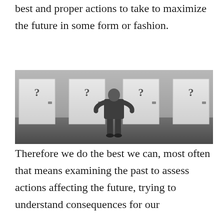best and proper actions to take to maximize the future in some form or fashion.
[Figure (photo): Black and white photo of a businessman in a suit standing with hands on hips, viewed from behind, facing four identical white doors each marked with a question mark, in a concrete room.]
Therefore we do the best we can, most often that means examining the past to assess actions affecting the future, trying to understand consequences for our